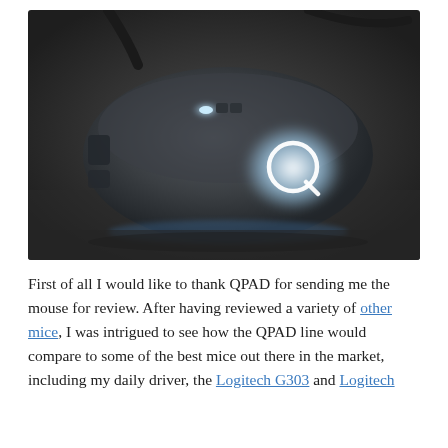[Figure (photo): A dark gaming mouse (QPAD brand) photographed on a grey surface. The mouse has a glowing white QPAD logo on its side and a lit button area near the top. A cable is visible at the top.]
First of all I would like to thank QPAD for sending me the mouse for review. After having reviewed a variety of other mice, I was intrigued to see how the QPAD line would compare to some of the best mice out there in the market, including my daily driver, the Logitech G303 and Logitech